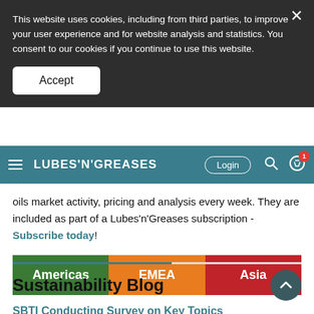This website uses cookies, including from third parties, to improve your user experience and for website analysis and statistics. You consent to our cookies if you continue to use this website.
Accept
LUBES'N'GREASES  Login
oils market activity, pricing and analysis every week. They are included as part of a Lubes'n'Greases subscription - Subscribe today!
Americas
EMEA
Asia
Sustainability Blog
SBTI Conducting Survey on Key Topics
By Simon_Johns - Sep 02, 2022